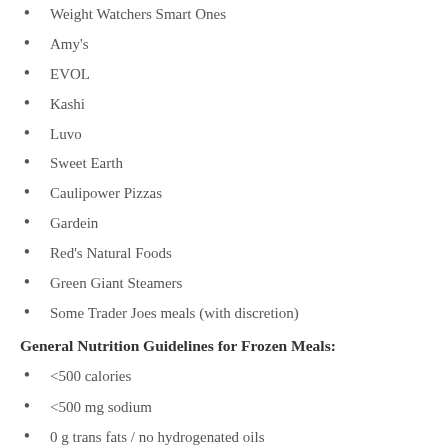Weight Watchers Smart Ones
Amy's
EVOL
Kashi
Luvo
Sweet Earth
Caulipower Pizzas
Gardein
Red's Natural Foods
Green Giant Steamers
Some Trader Joes meals (with discretion)
General Nutrition Guidelines for Frozen Meals:
<500 calories
<500 mg sodium
0 g trans fats / no hydrogenated oils
>15 grams protein
>4 g fiber